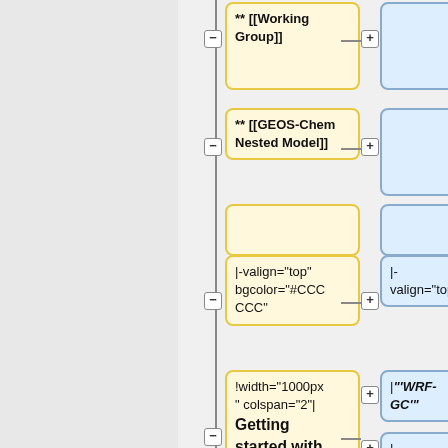[Figure (flowchart): A diff/flowchart view showing wiki markup changes. Left (yellow) boxes show old content with minus signs, right (blue) boxes show new content with plus signs. Content includes Working Group]], GEOS-Chem Nested Model]], valign/bgcolor attributes, colspan/width table markup, and WRF-GC related wiki markup.]